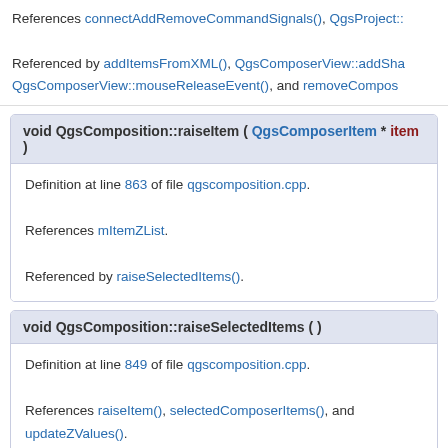References connectAddRemoveCommandSignals(), QgsProject::
Referenced by addItemsFromXML(), QgsComposerView::addSha..., QgsComposerView::mouseReleaseEvent(), and removeCompos...
void QgsComposition::raiseItem ( QgsComposerItem * item )
Definition at line 863 of file qgscomposition.cpp.
References mItemZList.
Referenced by raiseSelectedItems().
void QgsComposition::raiseSelectedItems ( )
Definition at line 849 of file qgscomposition.cpp.
References raiseItem(), selectedComposerItems(), and updateZValues().